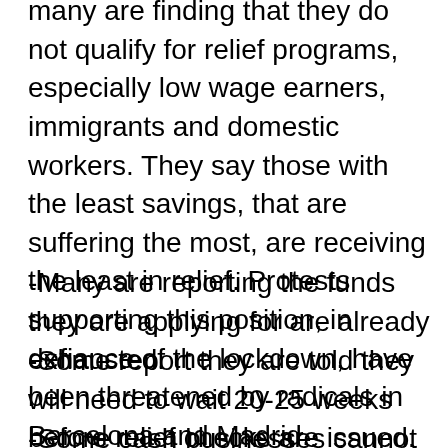many are finding that they do not qualify for relief programs, especially low wage earners, immigrants and domestic workers. They say those with the least savings, that are suffering the most, are receiving the least in relief. Protests supporting this position, in defiance of the lockdown, have been threatened by radicals in Barcelona and Madrid.
-Many are reporting the funds they are applying for are already exhausted.
-Some report they are told they will need to wait 20-25 weeks before relief checks are issued.
-Some cash businesses cannot prove they have lost the required 75 percent of income necessary to qualify, so they will receive no relief benefits.
-Sanchez' 200B Euro recovery package is based...